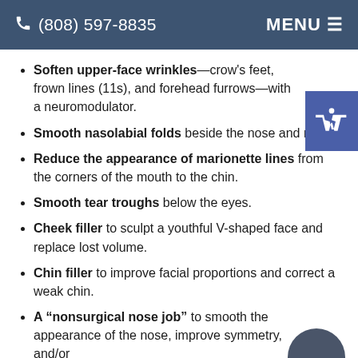(808) 597-8835  MENU
Soften upper-face wrinkles—crow's feet, frown lines (11s), and forehead furrows—with a neuromodulator.
Smooth nasolabial folds beside the nose and mouth.
Reduce the appearance of marionette lines from the corners of the mouth to the chin.
Smooth tear troughs below the eyes.
Cheek filler to sculpt a youthful V-shaped face and replace lost volume.
Chin filler to improve facial proportions and correct a weak chin.
A “nonsurgical nose job” to smooth the appearance of the nose, improve symmetry, and/or subtly reshape the tip.